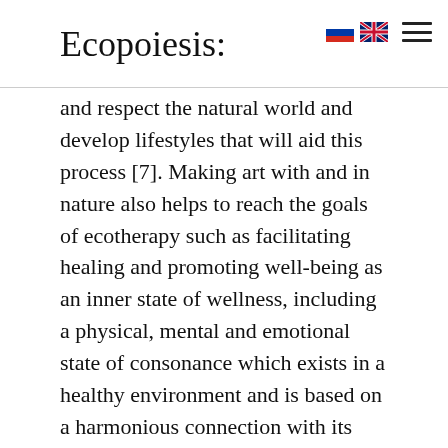Ecopoiesis:
and respect the natural world and develop lifestyles that will aid this process [7]. Making art with and in nature also helps to reach the goals of ecotherapy such as facilitating healing and promoting well-being as an inner state of wellness, including a physical, mental and emotional state of consonance which exists in a healthy environment and is based on a harmonious connection with its ecology.
According to environmental psychology, meaningful action is the opportunity to make a useful contribution to a genuine problem. It may involve being effective at a large scale (e.g. the choice of livelihood, a life-long struggle for environmental justice or food security, etc.), but perhaps more often it